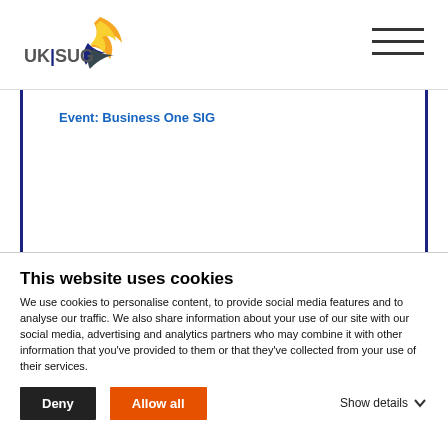[Figure (logo): UKISUG logo with flame/bird icon in orange, yellow and blue, with text UKISUG in dark blue/grey]
Event: Business One SIG
Member Only Resource - Login to Download
This website uses cookies
We use cookies to personalise content, to provide social media features and to analyse our traffic. We also share information about your use of our site with our social media, advertising and analytics partners who may combine it with other information that you've provided to them or that they've collected from your use of their services.
Deny
Allow all
Show details